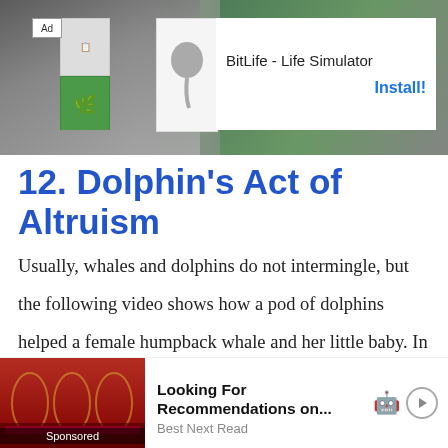[Figure (screenshot): Top advertisement banner for BitLife - Life Simulator app with colorful logo tiles and Install button, overlaid on a nature/animal background image]
12. Dolphin's Act of Altruism
Usually, whales and dolphins do not intermingle, but the following video shows how a pod of dolphins helped a female humpback whale and her little baby. In this incident, a female humpback whale and her baby were swimming off the Flinder Bay coast of Australia, and suddenly some male humpback whales came near them and starts fighting with each other, probably to mate with the female whale. While the male humpback whales were ... separa... and
[Figure (screenshot): Bottom sponsored advertisement: Looking For Recommendations on... Best Next Read, with image of ornate red interior hall]